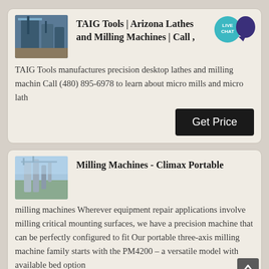[Figure (photo): Industrial factory/plant equipment photo, blue-toned]
TAIG Tools | Arizona Lathes and Milling Machines | Call ,
[Figure (infographic): Live Chat bubble icon - teal circle with dark purple speech bubble]
TAIG Tools manufactures precision desktop lathes and milling machin Call (480) 895-6978 to learn about micro mills and micro lath
[Figure (infographic): Get Price button - black rectangle with white text]
[Figure (photo): Industrial milling machinery photo, blue sky background]
Milling Machines - Climax Portable
milling machines Wherever equipment repair applications involve milling critical mounting surfaces, we have a precision machine that can be perfectly configured to fit Our portable three-axis milling machine family starts with the PM4200 – a versatile model with available bed option